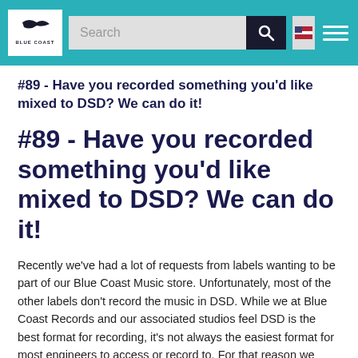Blue Coast Records - Search bar header with logo, search field, flag icon, and hamburger menu
#89 - Have you recorded something you'd like mixed to DSD? We can do it!
#89 - Have you recorded something you'd like mixed to DSD? We can do it!
Recently we've had a lot of requests from labels wanting to be part of our Blue Coast Music store. Unfortunately, most of the other labels don't record the music in DSD. While we at Blue Coast Records and our associated studios feel DSD is the best format for recording, it's not always the easiest format for most engineers to access or record to. For that reason we offer mixing and mastering to DSD through our studio.